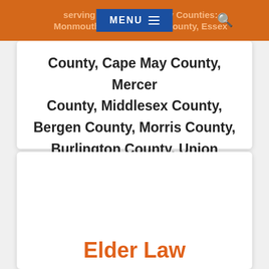Serving these New Jersey Counties: Monmouth County, Ocean County, Essex County, Cape May County, Mercer County, Middlesex County, Bergen County, Morris County, Burlington County, Union County, Somerset County, Hudson County, Passaic County
County, Cape May County, Mercer County, Middlesex County, Bergen County, Morris County, Burlington County, Union County, Somerset County, Hudson County, Passaic County
Elder Law